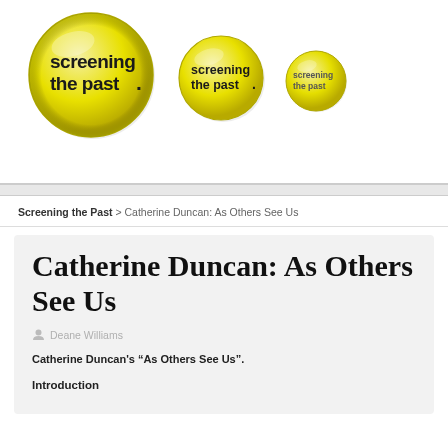[Figure (logo): Screening the Past logo — three yellow circles of decreasing size, each containing the text 'screening the past' in bold sans-serif]
Screening the Past > Catherine Duncan: As Others See Us
Catherine Duncan: As Others See Us
Deane Williams
Catherine Duncan's “As Others See Us”.
Introduction